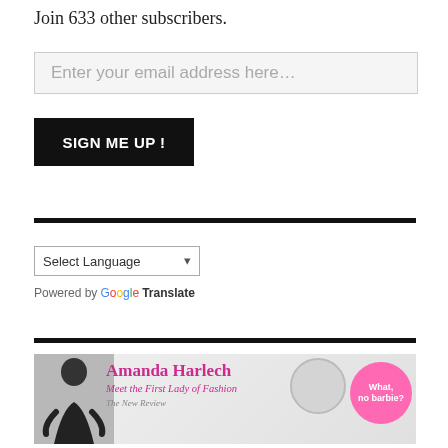Join 633 other subscribers.
Enter your email address here...
SIGN ME UP !
Select Language
Powered by Google Translate
[Figure (illustration): Magazine advertisement for Amanda Harlech featuring the text 'Amanda Harlech Meet the First Lady of Fashion The New Review' and a pink circle badge reading 'What, no barbie?']